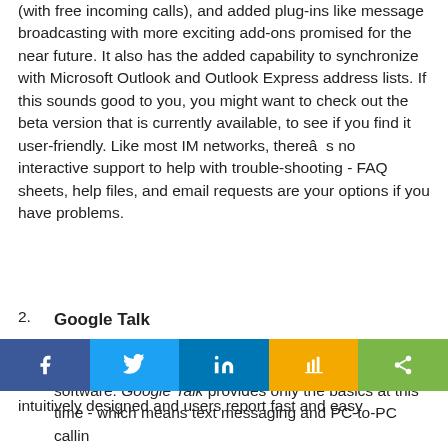(with free incoming calls), and added plug-ins like message broadcasting with more exciting add-ons promised for the near future. It also has the added capability to synchronize with Microsoft Outlook and Outlook Express address lists. If this sounds good to you, you might want to check out the beta version that is currently available, to see if you find it user-friendly. Like most IM networks, thereâs no interactive support to help with trouble-shooting - FAQ sheets, help files, and email requests are your options if you have problems.
2. Google Talk — A newcomer to the IM world, Google is about to upgrade from beta to provide consumers with new IM software. Google Talk provides only the basics at this time - which means text messaging and PC-to-PC calling, no video conferencing or file sharing yet...
intuitively designed and users report fast and easy